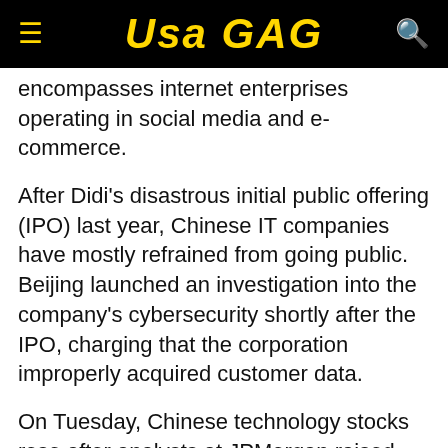USA GAG
encompasses internet enterprises operating in social media and e-commerce.
After Didi's disastrous initial public offering (IPO) last year, Chinese IT companies have mostly refrained from going public. Beijing launched an investigation into the company's cybersecurity shortly after the IPO, charging that the corporation improperly acquired customer data.
On Tuesday, Chinese technology stocks rose after analysts at JPMorgan raised their outlook on a number of internet companies and stated that a number of the sector's most significant concerns have "diminished." The increase in stock prices continued after Liu's remarks.